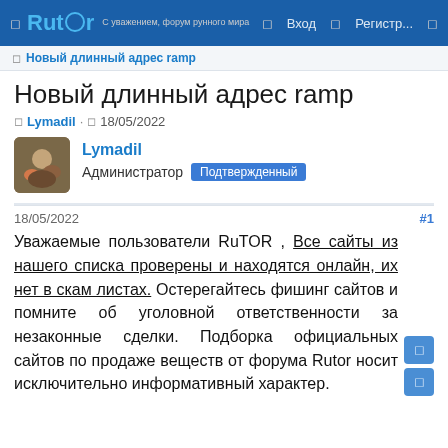Rutor | Вход | Регистр...
Новый длинный адрес ramp
Новый длинный адрес ramp
Lymadil · 18/05/2022
Lymadil
Администратор Подтвержденный
18/05/2022
#1
Уважаемые пользователи RuTOR , Все сайты из нашего списка проверены и находятся онлайн, их нет в скам листах. Остерегайтесь фишинг сайтов и помните об уголовной ответственности за незаконные сделки. Подборка официальных сайтов по продаже веществ от форума Rutor носит исключительно информативный характер.